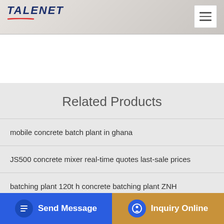TALENET
Related Products
mobile concrete batch plant in ghana
JS500 concrete mixer real-time quotes last-sale prices
batching plant 120t h concrete batching plant ZNH
Humboldt 5DN N5 $2,980.00 Asphalt Concrete Mixer Portable